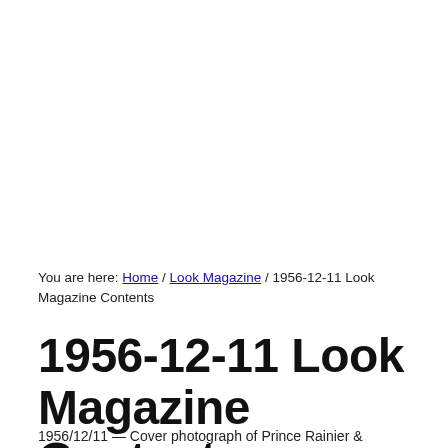You are here: Home / Look Magazine / 1956-12-11 Look Magazine Contents
1956-12-11 Look Magazine Contents
1956/12/11 — Cover photograph of Prince Rainier &